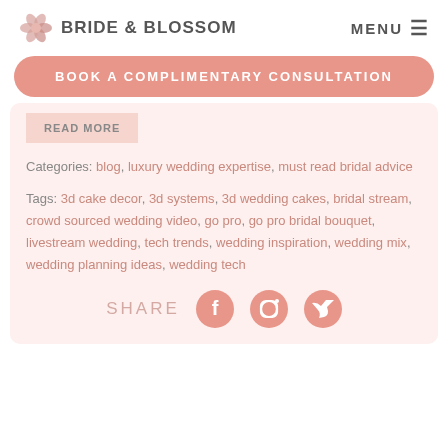BRIDE & BLOSSOM | MENU
BOOK A COMPLIMENTARY CONSULTATION
READ MORE
Categories: blog, luxury wedding expertise, must read bridal advice
Tags: 3d cake decor, 3d systems, 3d wedding cakes, bridal stream, crowd sourced wedding video, go pro, go pro bridal bouquet, livestream wedding, tech trends, wedding inspiration, wedding mix, wedding planning ideas, wedding tech
SHARE